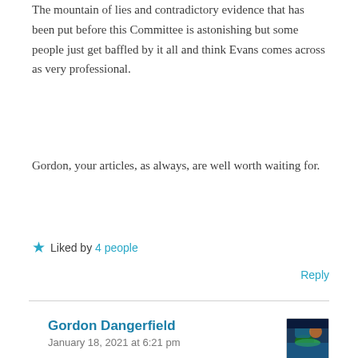The mountain of lies and contradictory evidence that has been put before this Committee is astonishing but some people just get baffled by it all and think Evans comes across as very professional.
Gordon, your articles, as always, are well worth waiting for.
★ Liked by 4 people
Reply
Gordon Dangerfield
January 18, 2021 at 6:21 pm
[Figure (photo): Avatar image for Gordon Dangerfield, showing a colorful landscape scene]
Corrected, Cubby! Many thanks for the kind words and for the further comments. The point about CORES is particularly telling and shows their utter